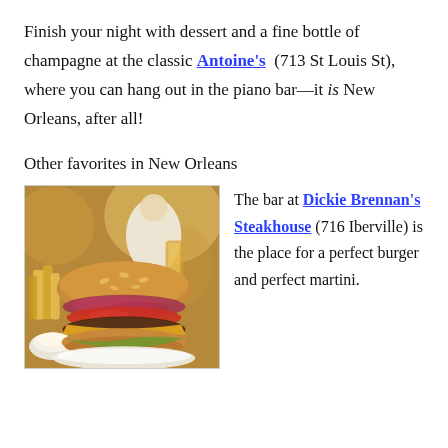Finish your night with dessert and a fine bottle of champagne at the classic Antoine's (713 St Louis St), where you can hang out in the piano bar—it is New Orleans, after all!
Other favorites in New Orleans
[Figure (photo): Photo of a gourmet burger with red onions, tomato, and cheese on a sesame bun, with fries and dipping sauce, taken in a restaurant setting.]
The bar at Dickie Brennan's Steakhouse (716 Iberville) is the place for a perfect burger and perfect martini.